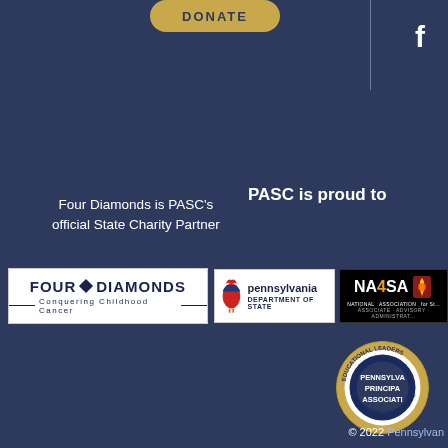[Figure (other): DONATE button - gold/yellow pill-shaped button with dark blue text]
[Figure (other): Facebook icon - white 'f' letter on dark blue background, top right area]
PASC is proud to
Four Diamonds is PASC's official State Charity Partner
[Figure (logo): Four Diamonds - Conquering Childhood Cancer logo on white background]
[Figure (logo): Pennsylvania Department of State logo on white background]
[Figure (logo): NA4SA National Association logo on black background]
[Figure (logo): Pennsylvania Principals Association circular seal logo]
© 2022 Pennsylvan